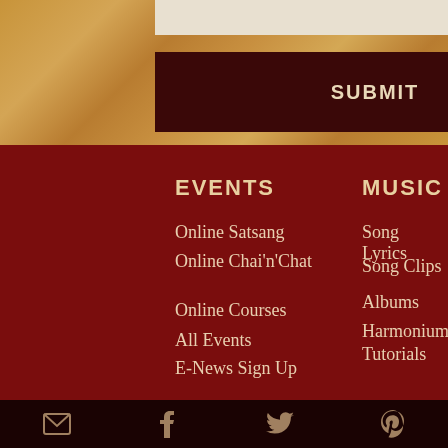[Figure (other): Wood texture background with a light-colored input bar at top and a dark maroon SUBMIT button below]
EVENTS
Online Satsang
Online Chai'n'Chat
Online Courses
All Events
E-News Sign Up
MUSIC
Song Lyrics
Song Clips
Albums
Harmonium Tutorials
Email | Facebook | Twitter | Pinterest